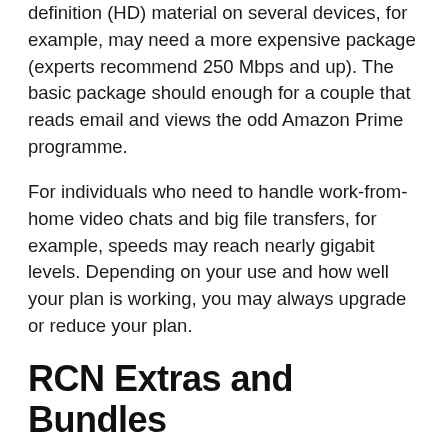definition (HD) material on several devices, for example, may need a more expensive package (experts recommend 250 Mbps and up). The basic package should enough for a couple that reads email and views the odd Amazon Prime programme.
For individuals who need to handle work-from-home video chats and big file transfers, for example, speeds may reach nearly gigabit levels. Depending on your use and how well your plan is working, you may always upgrade or reduce your plan.
RCN Extras and Bundles
RCN, like other high-speed internet providers that also provide other services, offers consumers the opportunity to save money by combining services. Pricing and promotions fluctuate, but in general, if you sign up for several RCN goods, you'll receive a reduced introductory pricing or even the first one to three months for free. Customers may be